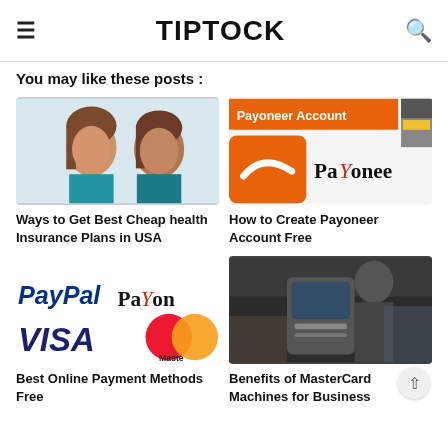TIPTOCK
You may like these posts :
[Figure (photo): Two young women in medical/nurse attire looking at camera]
Ways to Get Best Cheap health Insurance Plans in USA
[Figure (photo): Payoneer Account banner with orange Payoneer logo]
How to Create Payoneer Account Free
[Figure (photo): Online payment logos: PayPal, Payoneer, VISA, MasterCard]
Best Online Payment Methods Free
[Figure (photo): Person at point-of-sale terminal machine, business setting]
Benefits of MasterCard Machines for Business